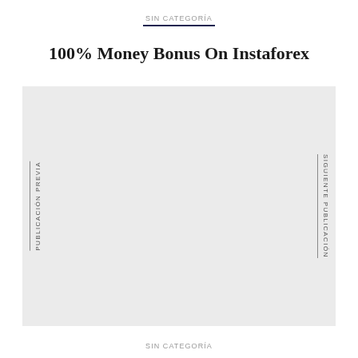SIN CATEGORÍA
100% Money Bonus On Instaforex
[Figure (other): Gray navigation box with vertical sidebar text 'PUBLICACIÓN PREVIA' on the left and 'SIGUIENTE PUBLICACIÓN' on the right]
SIN CATEGORÍA